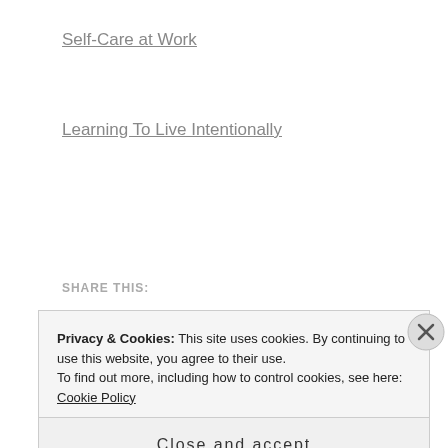Self-Care at Work
Learning To Live Intentionally
SHARE THIS:
Privacy & Cookies: This site uses cookies. By continuing to use this website, you agree to their use.
To find out more, including how to control cookies, see here: Cookie Policy
Close and accept